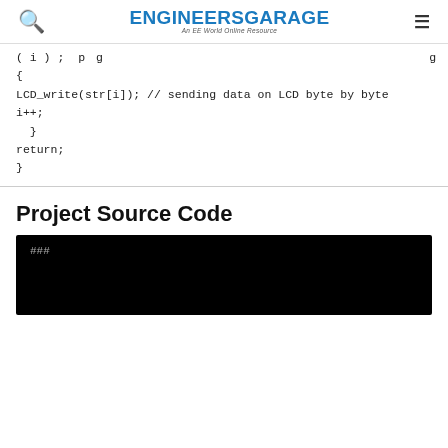ENGINEERS GARAGE — An EE World Online Resource
( i ) ; // p g
{
LCD_write(str[i]); // sending data on LCD byte by byte
i++;
  }
return;
}
Project Source Code
[Figure (screenshot): Dark code block with ### text visible on black background]